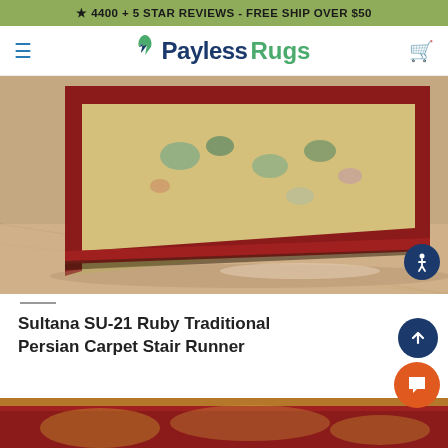★ 4400 + 5 STAR REVIEWS - FREE SHIP OVER $50
[Figure (logo): PaylessRugs logo with hamburger menu and cart icon in navbar]
[Figure (photo): Close-up photo of a red-bordered Persian rug with beige/tan center and floral pattern on a tile floor]
Sultana SU-21 Ruby Traditional Persian Carpet Stair Runner
[Figure (photo): Bottom strip of another rug photo with red and gold tones]